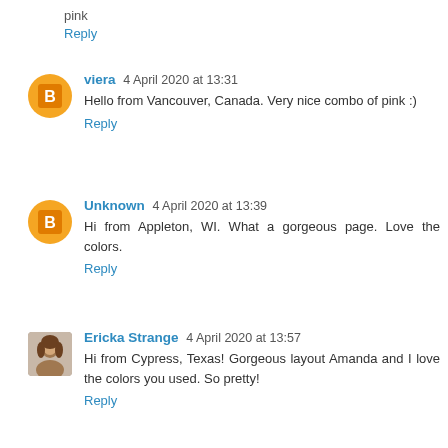Reply
viera 4 April 2020 at 13:31
Hello from Vancouver, Canada. Very nice combo of pink :)
Reply
Unknown 4 April 2020 at 13:39
Hi from Appleton, WI. What a gorgeous page. Love the colors.
Reply
Ericka Strange 4 April 2020 at 13:57
Hi from Cypress, Texas! Gorgeous layout Amanda and I love the colors you used. So pretty!
Reply